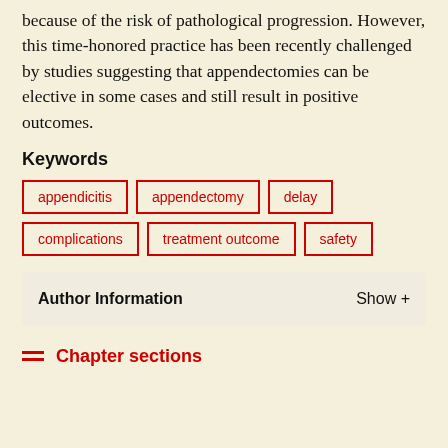because of the risk of pathological progression. However, this time-honored practice has been recently challenged by studies suggesting that appendectomies can be elective in some cases and still result in positive outcomes.
Keywords
appendicitis
appendectomy
delay
complications
treatment outcome
safety
Author Information   Show +
Chapter sections